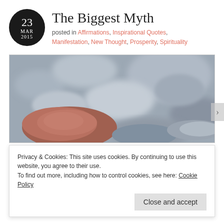The Biggest Myth
posted in Affirmations, Inspirational Quotes, Manifestation, New Thought, Prosperity, Spirituality
[Figure (photo): Close-up photograph of smooth river pebbles/stones in shades of grey and brown, slightly blurred/soft focus]
Privacy & Cookies: This site uses cookies. By continuing to use this website, you agree to their use.
To find out more, including how to control cookies, see here: Cookie Policy
Close and accept